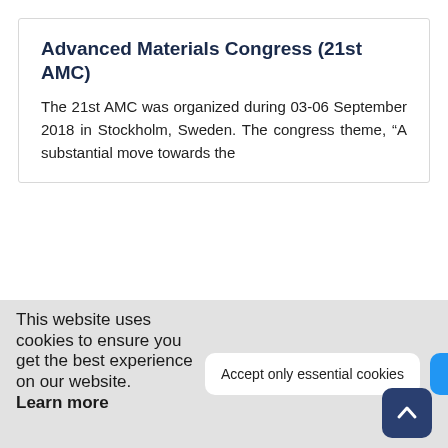Advanced Materials Congress (21st AMC)
The 21st AMC was organized during 03-06 September 2018 in Stockholm, Sweden. The congress theme, “A substantial move towards the
This website uses cookies to ensure you get the best experience on our website. Learn more
Accept only essential cookies
Accept